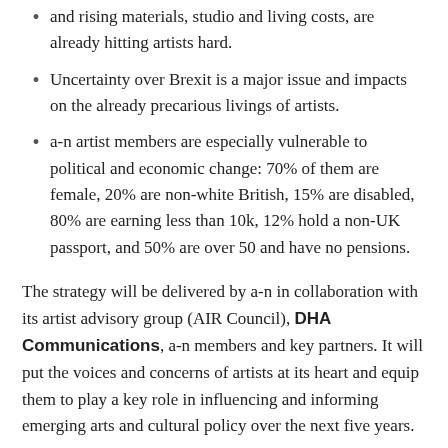and rising materials, studio and living costs, are already hitting artists hard.
Uncertainty over Brexit is a major issue and impacts on the already precarious livings of artists.
a-n artist members are especially vulnerable to political and economic change: 70% of them are female, 20% are non-white British, 15% are disabled, 80% are earning less than 10k, 12% hold a non-UK passport, and 50% are over 50 and have no pensions.
The strategy will be delivered by a-n in collaboration with its artist advisory group (AIR Council), DHA Communications, a-n members and key partners. It will put the voices and concerns of artists at its heart and equip them to play a key role in influencing and informing emerging arts and cultural policy over the next five years.